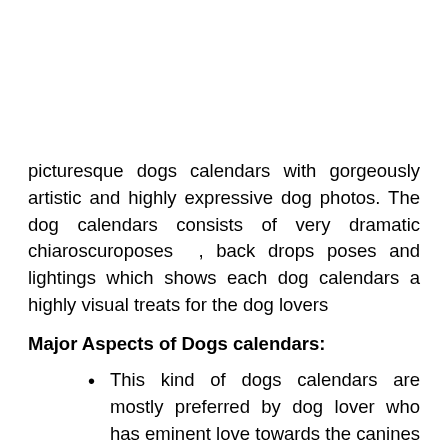picturesque dogs calendars with gorgeously artistic and highly expressive dog photos. The dog calendars consists of very dramatic chiaroscuroposes , back drops poses and lightings which shows each dog calendars a highly visual treats for the dog lovers
Major Aspects of Dogs calendars:
This kind of dogs calendars are mostly preferred by dog lover who has eminent love towards the canines .